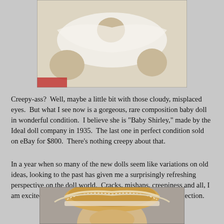[Figure (photo): A composition baby doll lying down, showing the upper body with a white fabric outfit and rounded limbs, photographed against a light background with a red edge visible.]
Creepy-ass?  Well, maybe a little bit with those cloudy, misplaced eyes.  But what I see now is a gorgeous, rare composition baby doll in wonderful condition.  I believe she is "Baby Shirley," made by the Ideal doll company in 1935.  The last one in perfect condition sold on eBay for $800.  There's nothing creepy about that.
In a year when so many of the new dolls seem like variations on old ideas, looking to the past has given me a surprisingly refreshing perspective on the doll world.  Cracks, mishaps, creepiness and all, I am excited to have this new generation of dolls join my collection.
[Figure (photo): Close-up of a doll's head wearing a frilly lace-trimmed bonnet, showing the top portion of the doll's face and hat against a gray background.]